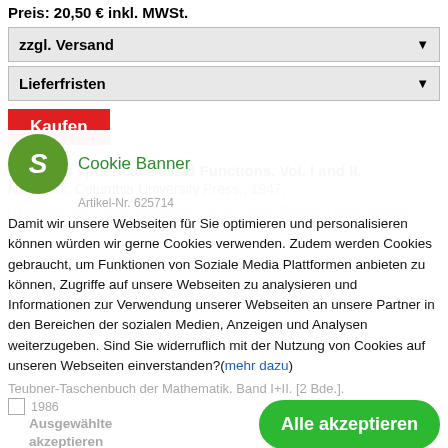Preis: 20,50 € inkl. MWSt.
zzgl. Versand
Lieferfristen
Kaufen
Tables of spherical Bessel Functions. Vol. I and II.
New York, Columbia University Press., 1947.
Cookie Banner
Damit wir unsere Webseiten für Sie optimieren und personalisieren können würden wir gerne Cookies verwenden. Zudem werden Cookies gebraucht, um Funktionen von Soziale Media Plattformen anbieten zu können, Zugriffe auf unsere Webseiten zu analysieren und Informationen zur Verwendung unserer Webseiten an unsere Partner in den Bereichen der sozialen Medien, Anzeigen und Analysen weiterzugeben. Sind Sie widerruflich mit der Nutzung von Cookies auf unseren Webseiten einverstanden?(mehr dazu)
Ausgewählte akzeptieren
Alle akzeptieren